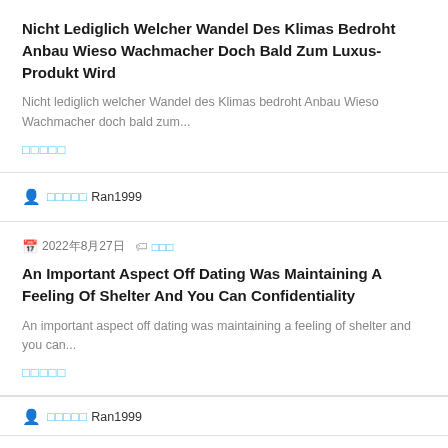Nicht Lediglich Welcher Wandel Des Klimas Bedroht Anbau Wieso Wachmacher Doch Bald Zum Luxus-Produkt Wird
Nicht lediglich welcher Wandel des Klimas bedroht Anbau Wieso Wachmacher doch bald zum...
□□□□□
🧑 □□□□□ Ran1999
📅 2022年8月27日  🏷 □□□
An Important Aspect Off Dating Was Maintaining A Feeling Of Shelter And You Can Confidentiality
An important aspect off dating was maintaining a feeling of shelter and you can...
□□□□□
🧑 □□□□□ Ran1999